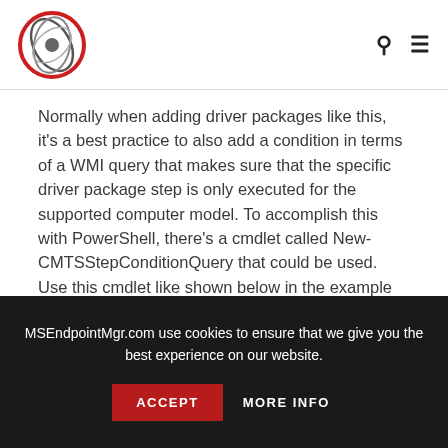[Figure (logo): MSEndpointMgr logo: circular icon with layered wave/sphere graphic in dark and red tones]
Normally when adding driver packages like this, it's a best practice to also add a condition in terms of a WMI query that makes sure that the specific driver package step is only executed for the supported computer model. To accomplish this with PowerShell, there's a cmdlet called New-CMTSStepConditionQuery that could be used. Use this cmdlet like shown below in the example and assign the condition object to a variable named $WMIQueryCondition. Use the Set-CMTaskSequenceStepApplyDriverPackage cmdlet
MSEndpointMgr.com use cookies to ensure that we give you the best experience on our website.
ACCEPT
MORE INFO